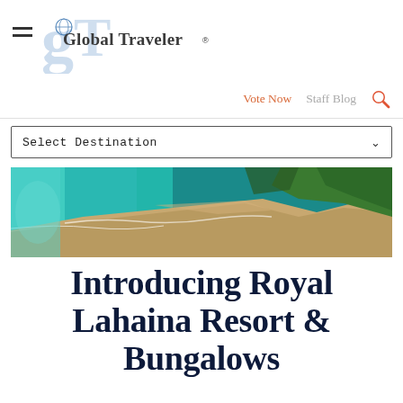Global Traveler
Vote Now  Staff Blog
Select Destination
[Figure (photo): Aerial view of a tropical beach with turquoise water, sandy shore, and green vegetation — Royal Lahaina Resort & Bungalows]
Introducing Royal Lahaina Resort & Bungalows